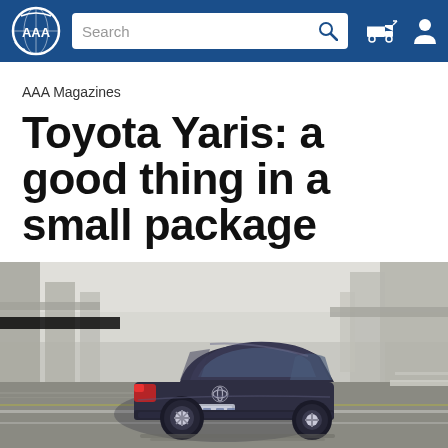AAA navigation bar with logo, search box, tow truck icon, and user icon
AAA Magazines
Toyota Yaris: a good thing in a small package
[Figure (photo): Rear three-quarter view of a dark blue Toyota Yaris sedan driving on a highway with bridge pillars in the background, motion blur suggesting speed]